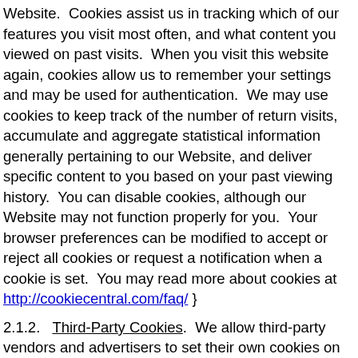Website.  Cookies assist us in tracking which of our features you visit most often, and what content you viewed on past visits.  When you visit this website again, cookies allow us to remember your settings and may be used for authentication.  We may use cookies to keep track of the number of return visits, accumulate and aggregate statistical information generally pertaining to our Website, and deliver specific content to you based on your past viewing history.  You can disable cookies, although our Website may not function properly for you.  Your browser preferences can be modified to accept or reject all cookies or request a notification when a cookie is set.  You may read more about cookies at http://cookiecentral.com/faq/ }
2.1.2.  Third-Party Cookies.  We allow third-party vendors and advertisers to set their own cookies on and through our Website.  We have no control over the practices of those third-parties and are not responsible for their technology or